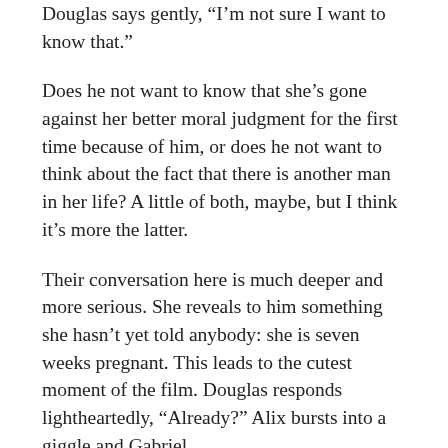Douglas says gently, "I'm not sure I want to know that."
Does he not want to know that she's gone against her better moral judgment for the first time because of him, or does he not want to think about the fact that there is another man in her life? A little of both, maybe, but I think it's more the latter.
Their conversation here is much deeper and more serious. She reveals to him something she hasn't yet told anybody: she is seven weeks pregnant. This leads to the cutest moment of the film. Douglas responds lightheartedly, "Already?" Alix bursts into a giggle and Gabriel